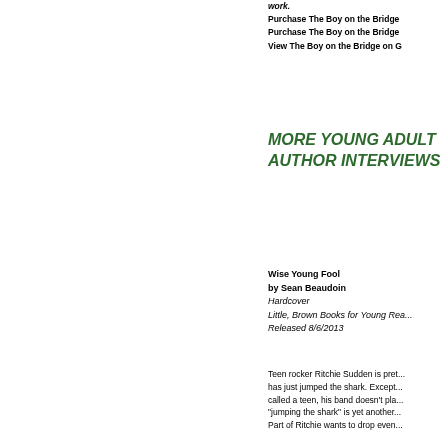work.
Purchase The Boy on the Bridge
Purchase The Boy on the Bridge
View The Boy on the Bridge on G
MORE YOUNG ADULT AUTHOR INTERVIEWS
Wise Young Fool
by Sean Beaudoin
Hardcover
Little, Brown Books for Young Rea...
Released 8/6/2013
Teen rocker Ritchie Sudden is pret... has just jumped the shark. Except... called a teen, his band doesn't pla... "jumping the shark" is yet another... Part of Ritchie wants to drop even...